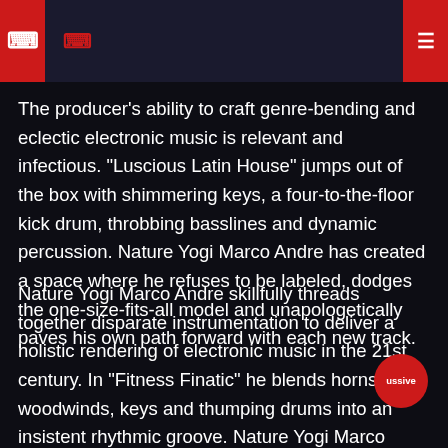The producer’s ability to craft genre-bending and eclectic electronic music is relevant and infectious. “Luscious Latin House” jumps out of the box with shimmering keys, a four-to-the-floor kick drum, throbbing basslines and dynamic percussion. Nature Yogi Marco Andre has created a space where he refuses to be labeled, dodges the one-size-fits-all model and unapologetically paves his own path forward with each new track.
Nature Yogi Marco Andre skillfully threads together disparate instrumentation to deliver a holistic rendering of electronic music in the 21st century. In “Fitness Finatic” he blends horns, woodwinds, keys and thumping drums into an insistent rhythmic groove. Nature Yogi Marco Andre sound, percussive as it is, feels chameleonic. He has both an astonishing range